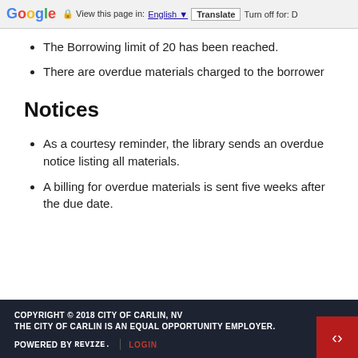Google | View this page in: English | Translate | Turn off for: D
The Borrowing limit of 20 has been reached.
There are overdue materials charged to the borrower
Notices
As a courtesy reminder, the library sends an overdue notice listing all materials.
A billing for overdue materials is sent five weeks after the due date.
COPYRIGHT © 2018 CITY OF CARLIN, NV
THE CITY OF CARLIN IS AN EQUAL OPPORTUNITY EMPLOYER.

POWERED BY revize. | LOGIN